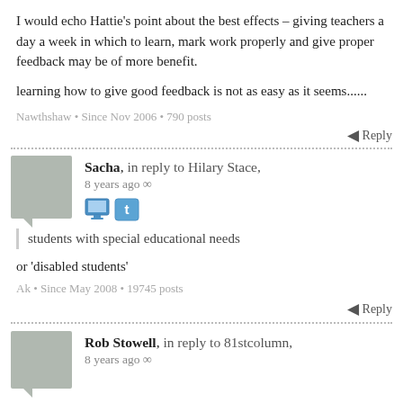I would echo Hattie's point about the best effects – giving teachers a day a week in which to learn, mark work properly and give proper feedback may be of more benefit.
learning how to give good feedback is not as easy as it seems......
Nawthshaw • Since Nov 2006 • 790 posts
Reply
Sacha, in reply to Hilary Stace, 8 years ago ∞
students with special educational needs
or 'disabled students'
Ak • Since May 2008 • 19745 posts
Reply
Rob Stowell, in reply to 81stcolumn, 8 years ago ∞